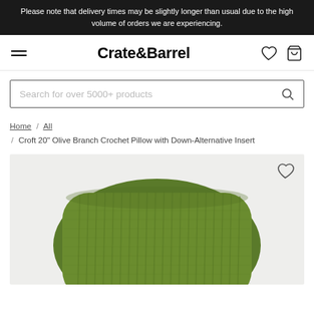Please note that delivery times may be slightly longer than usual due to the high volume of orders we are experiencing.
[Figure (logo): Crate&Barrel navigation bar with hamburger menu, logo, heart icon and cart icon]
Search for over 5000+ products
Home / All / Croft 20" Olive Branch Crochet Pillow with Down-Alternative Insert
[Figure (photo): Green knit/crochet throw pillow (Croft 20 inch Olive Branch Crochet Pillow) on light grey background, shown from above cropped view with heart/wishlist icon in top right corner]